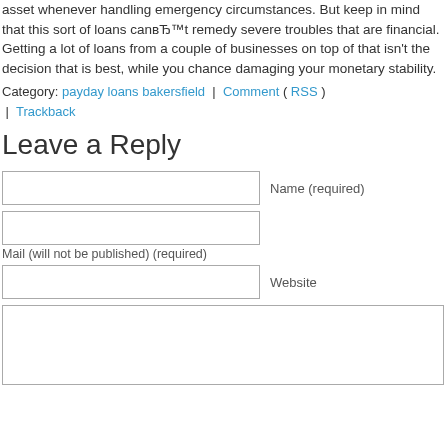asset whenever handling emergency circumstances. But keep in mind that this sort of loans canвЂ™t remedy severe troubles that are financial. Getting a lot of loans from a couple of businesses on top of that isn't the decision that is best, while you chance damaging your monetary stability.
Category: payday loans bakersfield | Comment ( RSS ) | Trackback
Leave a Reply
Name (required) [input field]
Mail (will not be published) (required) [input field]
Website [input field]
[textarea]